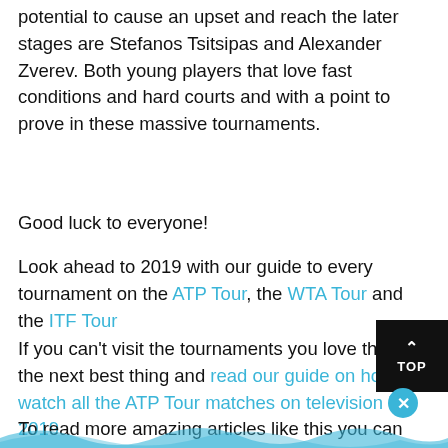potential to cause an upset and reach the later stages are Stefanos Tsitsipas and Alexander Zverev. Both young players that love fast conditions and hard courts and with a point to prove in these massive tournaments.
Good luck to everyone!
Look ahead to 2019 with our guide to every tournament on the ATP Tour, the WTA Tour and the ITF Tour
If you can't visit the tournaments you love then do the next best thing and read our guide on how to watch all the ATP Tour matches on television in 2019
To read more amazing articles like this you can explore Tennishead magazine or you can subscribe for f...